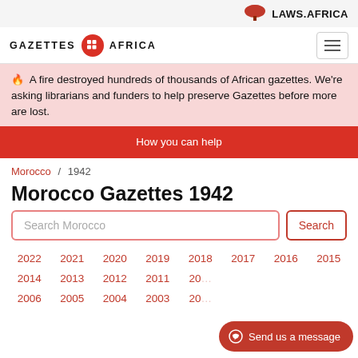LAWS.AFRICA
[Figure (logo): Gazettes Africa logo with red circle and grid icon]
A fire destroyed hundreds of thousands of African gazettes. We're asking librarians and funders to help preserve Gazettes before more are lost.
How you can help
Morocco / 1942
Morocco Gazettes 1942
Search Morocco
2022 2021 2020 2019 2018 2017 2016 2015 2014 2013 2012 2011 2006 2005 2004 2003
Send us a message